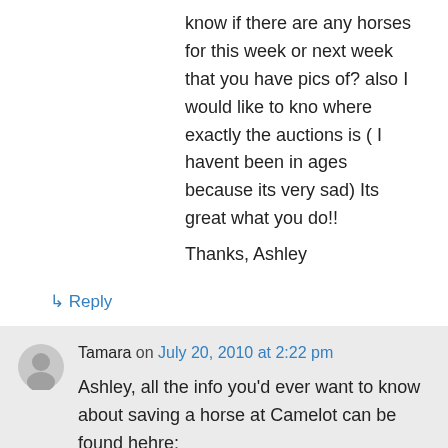know if there are any horses for this week or next week that you have pics of? also I would like to kno where exactly the auctions is ( I havent been in ages because its very sad) Its great what you do!!
Thanks, Ashley
↳ Reply
Tamara on July 20, 2010 at 2:22 pm
Ashley, all the info you'd ever want to know about saving a horse at Camelot can be found hehre:
http://www.nj-feedlot-horse-rescue.com/